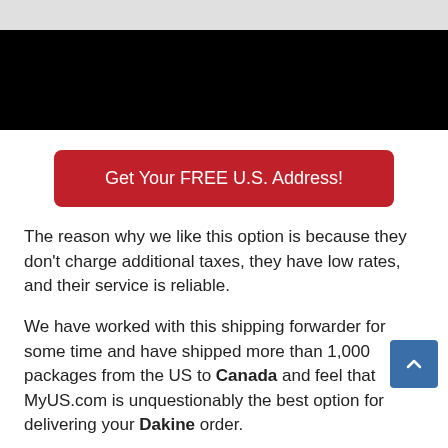[Figure (photo): Top banner area with gray strip above and black background below, likely a website header image]
[Figure (other): Red rounded button with white text reading 'Get Your FREE U.S. Address!']
The reason why we like this option is because they don't charge additional taxes, they have low rates, and their service is reliable.
We have worked with this shipping forwarder for some time and have shipped more than 1,000 packages from the US to Canada and feel that MyUS.com is unquestionably the best option for delivering your Dakine order.
If you are planning on ordering something from a US-based store, we suggest that the ideal choice to...